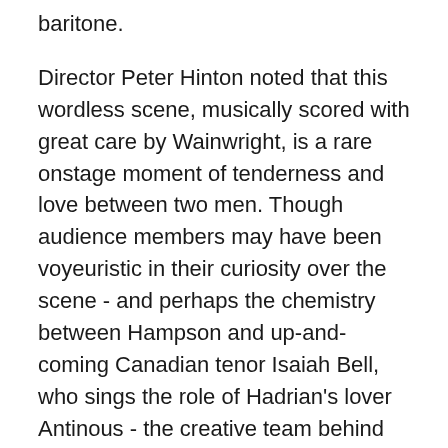baritone.
Director Peter Hinton noted that this wordless scene, musically scored with great care by Wainwright, is a rare onstage moment of tenderness and love between two men. Though audience members may have been voyeuristic in their curiosity over the scene - and perhaps the chemistry between Hampson and up-and-coming Canadian tenor Isaiah Bell, who sings the role of Hadrian’s lover Antinous - the creative team behind Hadrian was focused instead on defining deep intimacy between the two men.
Regardless of whether the focus of the scene is on the physical - how much skin was shown, or how much in the action could be seen or what...